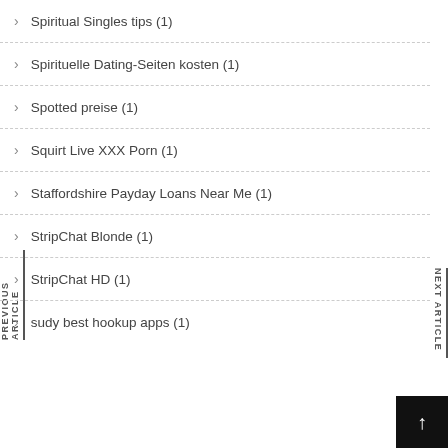Spiritual Singles tips (1)
Spirituelle Dating-Seiten kosten (1)
Spotted preise (1)
Squirt Live XXX Porn (1)
Staffordshire Payday Loans Near Me (1)
StripChat Blonde (1)
StripChat HD (1)
sudy best hookup apps (1)